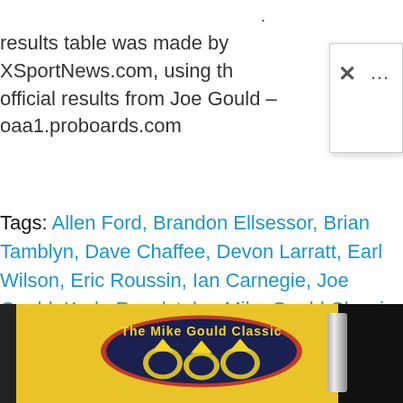results table was made by XSportNews.com, using th official results from Joe Gould – oaa1.proboards.com
Read More »
Tags: Allen Ford, Brandon Ellsessor, Brian Tamblyn, Dave Chaffee, Devon Larratt, Earl Wilson, Eric Roussin, Ian Carnegie, Joe Gould, Kade Revelstoke, Mike Gould Classic 2013 | 30–31 March 2013, Rob Vigeant Jr., Shea Dickie, Tom Smith
[Figure (photo): Photo of The Mike Gould Classic trophy or equipment on a yellow background with dark oval logo showing arm wrestling imagery]